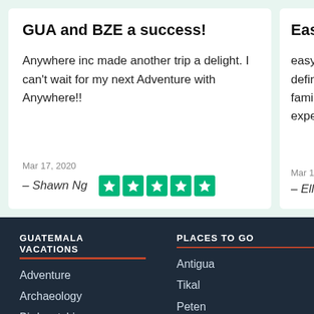GUA and BZE a success!
Anywhere inc made another trip a delight. I can't wait for my next Adventure with Anywhere!!
Mar 17, 2020
– Shawn Ng
Easy &
easy to u definitely family. th experien
Mar 11, 202
– Elle Ma
GUATEMALA VACATIONS
Adventure
Archaeology
Bird-watching
PLACES TO GO
Antigua
Tikal
Peten